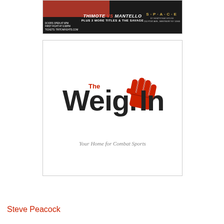[Figure (photo): Advertisement banner for Triton Fights event featuring Thimote vs Mantello plus 2 more titles and The Savage. Dark background with red accent. Doors open at 6PM, first fight at 6:30PM. Tickets at tritonfights.com. Venue: The Space, 250 Post Ave., Westbury NY 11960.]
[Figure (logo): The Weigh In logo — large bold dark text 'Weigh In' with a red raised fist replacing the letter 't', and small red word 'The' above. Tagline: Your Home for Combat Sports]
Steve Peacock